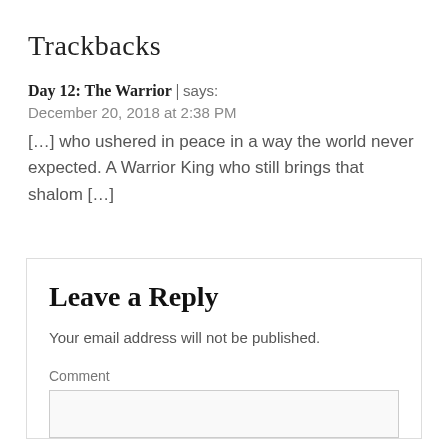Trackbacks
Day 12: The Warrior | says:
December 20, 2018 at 2:38 PM
[...] who ushered in peace in a way the world never expected. A Warrior King who still brings that shalom [...]
Leave a Reply
Your email address will not be published.
Comment